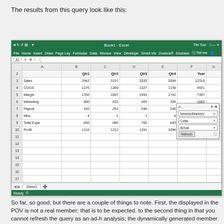The results from this query look like this:
[Figure (screenshot): Microsoft Excel screenshot showing a spreadsheet with Sales, COGS, Margin, Marketing, Payroll, Misc, Total Expenses, and Profit rows across Qtr1, Qtr2, Qtr3, Qtr4, and Year columns. A POV panel is visible on the right with SelectedMarkets, Colas, and Actual fields and a Refresh button.]
So far, so good, but there are a couple of things to note.  First, the displayed in the POV is not a real member; that is to be expected. to the second thing in that you cannot refresh the query as an ad-h analysis; the dynamically generated member name will be replace dimension member name in its place.